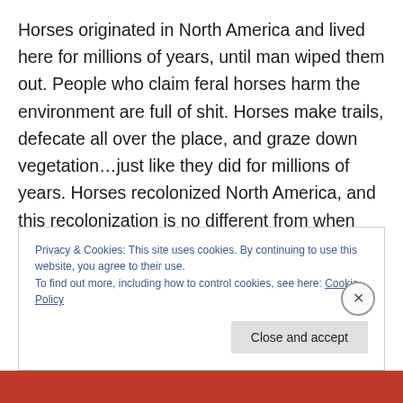Horses originated in North America and lived here for millions of years, until man wiped them out. People who claim feral horses harm the environment are full of shit. Horses make trails, defecate all over the place, and graze down vegetation…just like they did for millions of years. Horses recolonized North America, and this recolonization is no different from when wildlife managers re-introduce endangered species to lands where they had previously disappeared. There are only about 83,000 feral horses in North America today compared to tens of millions of cattle,
Privacy & Cookies: This site uses cookies. By continuing to use this website, you agree to their use.
To find out more, including how to control cookies, see here: Cookie Policy